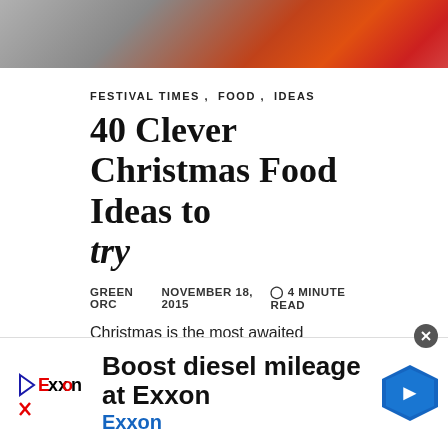[Figure (photo): Hero banner image with blurred metallic/red/orange gradient background]
FESTIVAL TIMES , FOOD , IDEAS
40 Clever Christmas Food Ideas to try
GREEN ORC   NOVEMBER 18, 2015   4 MINUTE READ
Christmas is the most awaited festival. The festival brings a lot of prosperity and happiness with itself. Christmas…
[Figure (infographic): Social sharing icons: Facebook and Pinterest circular black icons]
[Figure (infographic): Advertisement banner: Exxon logo, text 'Boost diesel mileage at Exxon', 'Exxon' in blue, blue navigation arrow icon]